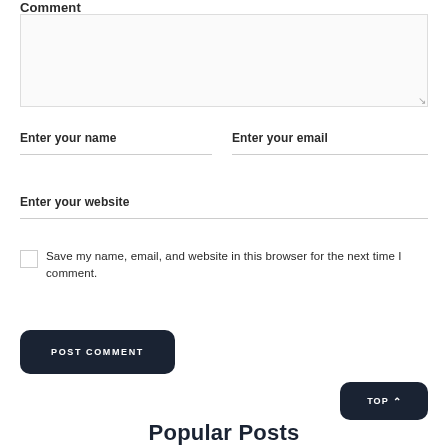Comment
Enter your name
Enter your email
Enter your website
Save my name, email, and website in this browser for the next time I comment.
POST COMMENT
TOP
Popular Posts